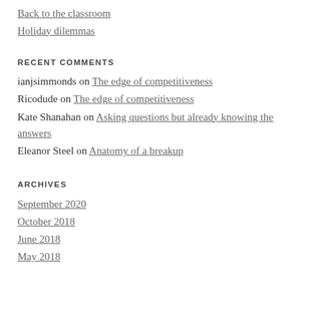Back to the classroom
Holiday dilemmas
RECENT COMMENTS
ianjsimmonds on The edge of competitiveness
Ricodude on The edge of competitiveness
Kate Shanahan on Asking questions but already knowing the answers
Eleanor Steel on Anatomy of a breakup
ARCHIVES
September 2020
October 2018
June 2018
May 2018